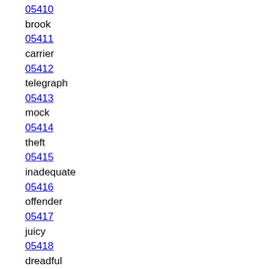05410
brook
05411
carrier
05412
telegraph
05413
mock
05414
theft
05415
inadequate
05416
offender
05417
juicy
05418
dreadful
05419
thrust
05420